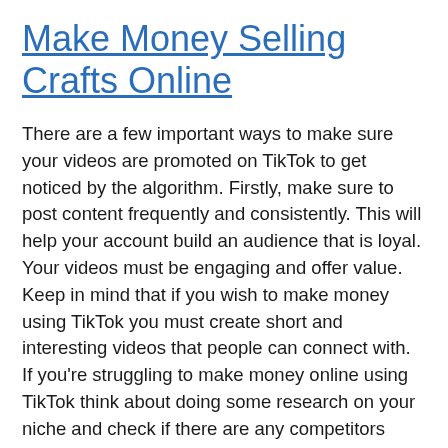Make Money Selling Crafts Online
There are a few important ways to make sure your videos are promoted on TikTok to get noticed by the algorithm. Firstly, make sure to post content frequently and consistently. This will help your account build an audience that is loyal. Your videos must be engaging and offer value. Keep in mind that if you wish to make money using TikTok you must create short and interesting videos that people can connect with. If you're struggling to make money online using TikTok think about doing some research on your niche and check if there are any competitors operating there.